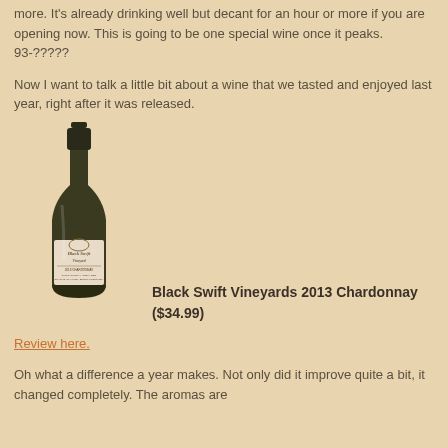more. It's already drinking well but decant for an hour or more if you are opening now. This is going to be one special wine once it peaks. 93-?????
Now I want to talk a little bit about a wine that we tasted and enjoyed last year, right after it was released.
[Figure (photo): Wine bottle of Black Swift Vineyards 2013 Chardonnay with a dark green bottle and label]
Black Swift Vineyards 2013 Chardonnay ($34.99)
Review here.
Oh what a difference a year makes. Not only did it improve quite a bit, it changed completely. The aromas are